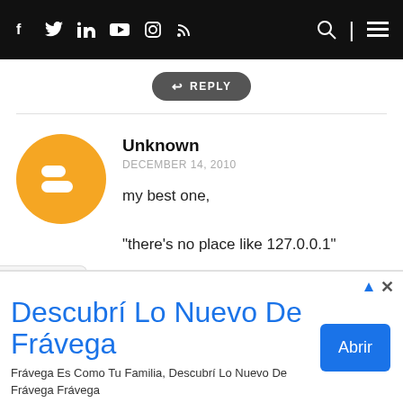Social icons: f, Twitter, LinkedIn, YouTube, Instagram, RSS | Search | Menu
REPLY
Unknown
DECEMBER 14, 2010
my best one,

"there's no place like 127.0.0.1"
REPLY
[Figure (illustration): Advertisement banner: Descubrí Lo Nuevo De Frávega. Frávega Es Como Tu Familia, Descubrí Lo Nuevo De Frávega Frávega. Blue Abrir button.]